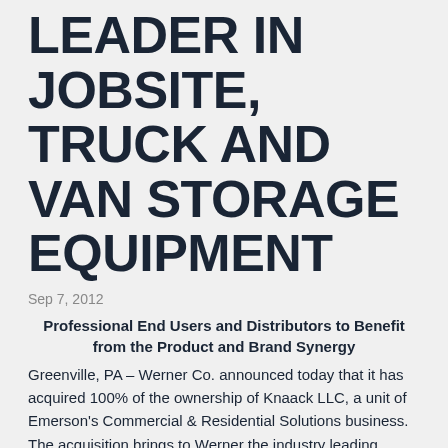LEADER IN JOBSITE, TRUCK AND VAN STORAGE EQUIPMENT
Sep 7, 2012
Professional End Users and Distributors to Benefit from the Product and Brand Synergy
Greenville, PA – Werner Co. announced today that it has acquired 100% of the ownership of Knaack LLC, a unit of Emerson's Commercial & Residential Solutions business. The acquisition brings to Werner the industry leading KNAACK® and WEATHER GUARD® brands,